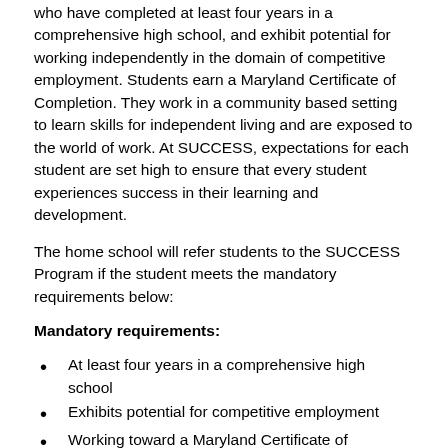who have completed at least four years in a comprehensive high school, and exhibit potential for working independently in the domain of competitive employment. Students earn a Maryland Certificate of Completion. They work in a community based setting to learn skills for independent living and are exposed to the world of work. At SUCCESS, expectations for each student are set high to ensure that every student experiences success in their learning and development.
The home school will refer students to the SUCCESS Program if the student meets the mandatory requirements below:
Mandatory requirements:
At least four years in a comprehensive high school
Exhibits potential for competitive employment
Working toward a Maryland Certificate of Completion